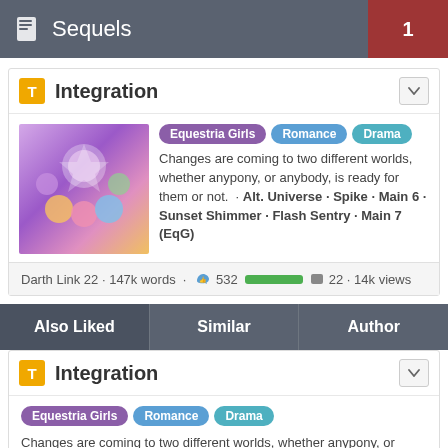Sequels 1
Integration
Equestria Girls · Romance · Drama — Changes are coming to two different worlds, whether anypony, or anybody, is ready for them or not. · Alt. Universe · Spike · Main 6 · Sunset Shimmer · Flash Sentry · Main 7 (EqG)
Darth Link 22 · 147k words · 👍 532 [rating bar] 👎 22 · 14k views
Also Liked | Similar | Author
Integration
Equestria Girls · Romance · Drama — Changes are coming to two different worlds, whether anypony, or anybody, is ready for them or not. · Alt. Universe · Spike · Main 6 · Sunset Shimmer · Flash Sentry · Main 7 (EqG)
Darth Link 22 · 147k words · 👍 532 [rating bar] 👎 22 · 14k views